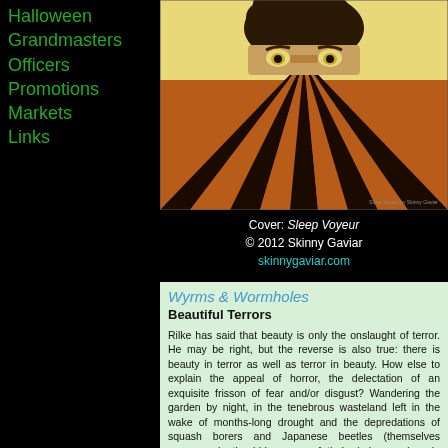Halloween
Grandmasters
Officers
Promotions
Markets
Links
[Figure (illustration): Book cover illustration showing a face with wide eyes peeking over a field of converging brown and black striped rows, on a yellow background. Title 'Sleep Voyeur by Skinny Gaviar' in bottom right corner.]
Cover: Sleep Voyeur
© 2012 Skinny Gaviar
skinnygaviar.com
Wyrms & Wormholes
Beautiful Terrors
Rilke has said that beauty is only the onslaught of terror. He may be right, but the reverse is also true: there is beauty in terror as well as terror in beauty. How else to explain the appeal of horror, the delectation of an exquisite frisson of fear and/or disgust? Wandering the garden by night, in the tenebrous wasteland left in the wake of months-long drought and the depredations of squash borers and Japanese beetles (themselves gorgeous in the iridescence of their dark armor), pale pumpkins deflate like the doomed hot-air balloons of a miniature humanoid race, collapsing into a ruin of rot; outcast tomatoes squelch underfoot with only momentary resistance